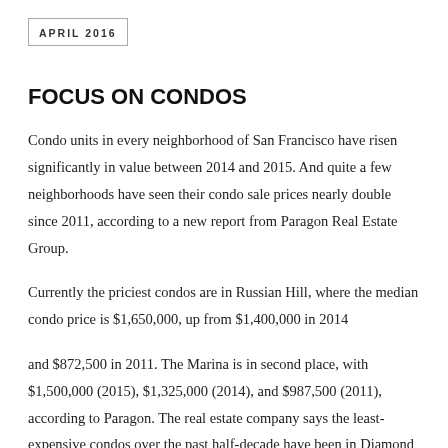APRIL 2016
FOCUS ON CONDOS
Condo units in every neighborhood of San Francisco have risen significantly in value between 2014 and 2015. And quite a few neighborhoods have seen their condo sale prices nearly double since 2011, according to a new report from Paragon Real Estate Group.
Currently the priciest condos are in Russian Hill, where the median condo price is $1,650,000, up from $1,400,000 in 2014
and $872,500 in 2011. The Marina is in second place, with $1,500,000 (2015), $1,325,000 (2014), and $987,500 (2011), according to Paragon. The real estate company says the least-expensive condos over the past half-decade have been in Diamond